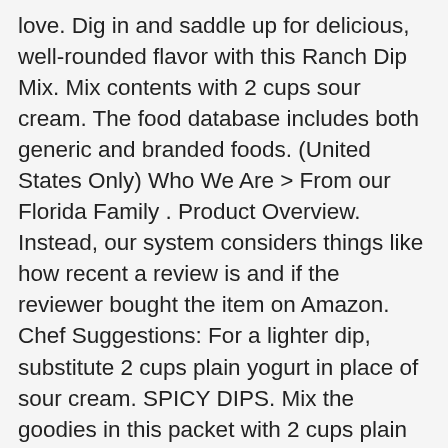love. Dig in and saddle up for delicious, well-rounded flavor with this Ranch Dip Mix. Mix contents with 2 cups sour cream. The food database includes both generic and branded foods. (United States Only) Who We Are > From our Florida Family . Product Overview. Instead, our system considers things like how recent a review is and if the reviewer bought the item on Amazon. Chef Suggestions: For a lighter dip, substitute 2 cups plain yogurt in place of sour cream. SPICY DIPS. Mix the goodies in this packet with 2 cups plain nonfat Greek Yogurt. one percent of sales supports organic farming and education. Product Ingredients. Product Ingredients. 0.75 oz. Find answers in product info, Q&As, reviews. prepare fresh in minutes, Simply Organic ranch dip mix, dippity-do-dah the dip that does it all, SERVING SUGGESTION. + Add to shopping list. Our Simply Organic Dip Mix Sampler offers a wonderful variety easy to make dip mixes- making it a wonderful way to try new or different flavors from the brand you already love. First I need to back it up a bit. You will need 2 cups sour cream. Serve on fresh salad, offer as a dip